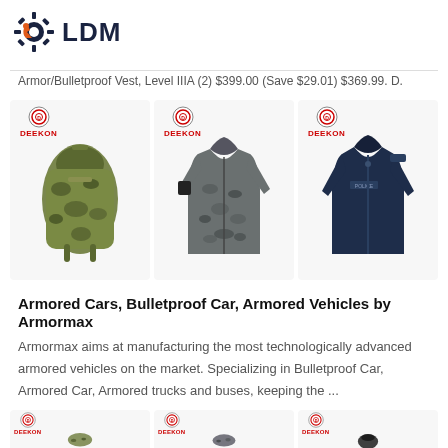[Figure (logo): LDM logo with gear icon (dark navy gear with orange wrench, text LDM in bold dark navy)]
Armor/Bulletproof Vest, Level IIIA (2) $399.00 (Save $29.01) $369.99. D.
[Figure (photo): Three product images: camouflage military backpack, camouflage military jacket/shirt, dark navy police zip-up fleece jacket. Each has a Deekon logo badge in the top-left corner.]
Armored Cars, Bulletproof Car, Armored Vehicles by Armormax
Armormax aims at manufacturing the most technologically advanced armored vehicles on the market. Specializing in Bulletproof Car, Armored Car, Armored trucks and buses, keeping the ...
[Figure (photo): Partial bottom row showing three more product images with Deekon badges, images partially cut off at bottom of page.]